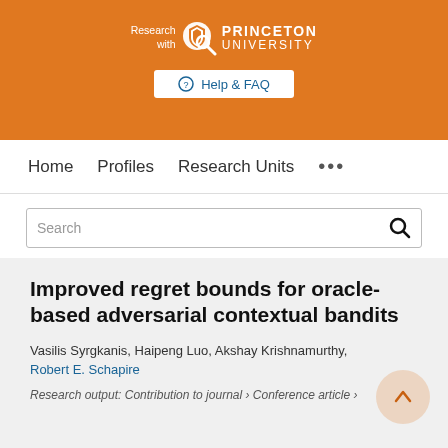[Figure (logo): Princeton University 'Research with' logo with magnifying glass and shield icon on orange background]
Help & FAQ
Home   Profiles   Research Units   ...
Search
Improved regret bounds for oracle-based adversarial contextual bandits
Vasilis Syrgkanis, Haipeng Luo, Akshay Krishnamurthy, Robert E. Schapire
Research output: Contribution to journal › Conference article ›